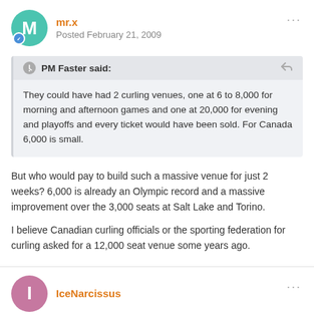mr.x
Posted February 21, 2009
PM Faster said:
They could have had 2 curling venues, one at 6 to 8,000 for morning and afternoon games and one at 20,000 for evening and playoffs and every ticket would have been sold. For Canada 6,000 is small.
But who would pay to build such a massive venue for just 2 weeks? 6,000 is already an Olympic record and a massive improvement over the 3,000 seats at Salt Lake and Torino.
I believe Canadian curling officials or the sporting federation for curling asked for a 12,000 seat venue some years ago.
IceNarcissus